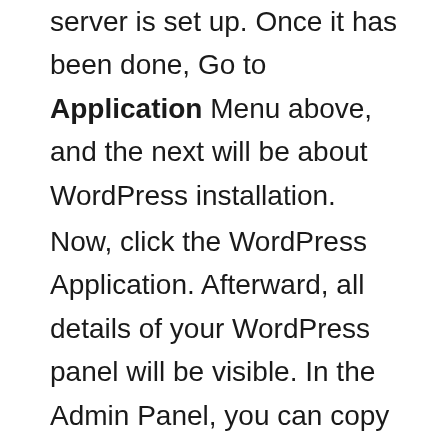On the next page, please wait until the server is set up. Once it has been done, Go to Application Menu above, and the next will be about WordPress installation.
Now, click the WordPress Application. Afterward, all details of your WordPress panel will be visible. In the Admin Panel, you can copy the username and password of WordPress.